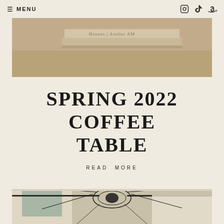≡ MENU
[Figure (photo): Top photo showing stacked coffee table books on a light surface, with text reading 'Houses | Atelier AM']
SPRING 2022 COFFEE TABLE
READ MORE
[Figure (photo): Bottom photo showing a room interior with white sheer curtains, black curtain rods, and a black geometric pendant lamp (Vertigo style) hanging from the ceiling]